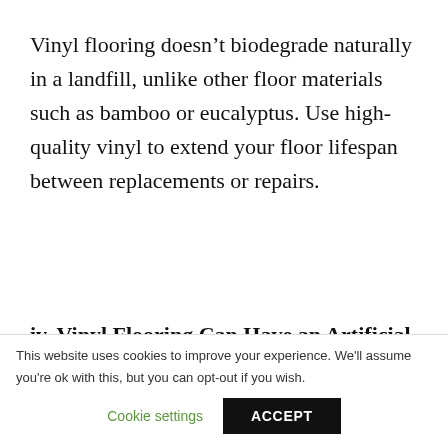Vinyl flooring doesn't biodegrade naturally in a landfill, unlike other floor materials such as bamboo or eucalyptus. Use high-quality vinyl to extend your floor lifespan between replacements or repairs.
iv. Vinyl Flooring Can Have an Artificial
This website uses cookies to improve your experience. We'll assume you're ok with this, but you can opt-out if you wish.
Cookie settings
ACCEPT